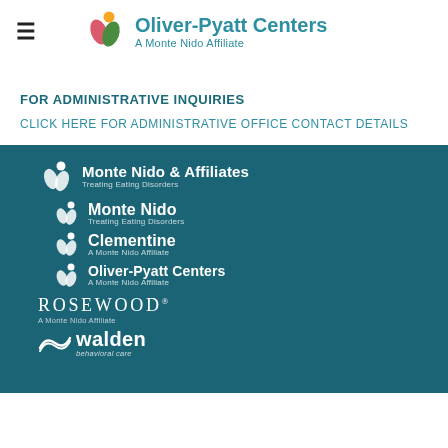[Figure (logo): Oliver-Pyatt Centers logo with leaf/circle icon and text 'Oliver-Pyatt Centers A Monte Nido Affiliate']
FOR ADMINISTRATIVE INQUIRIES
CLICK HERE FOR ADMINISTRATIVE OFFICE CONTACT DETAILS
[Figure (logo): Dark teal footer panel with multiple logos: Monte Nido & Affiliates (Treating Eating Disorders), Monte Nido (Treating Eating Disorders), Clementine (A Monte Nido Affiliate), Oliver-Pyatt Centers (A Monte Nido Affiliate), Rosewood (A Monte Nido Affiliate), Walden behavioral care]